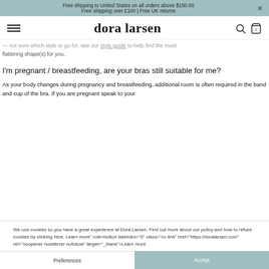Free shipping to United States on all orders above $150.00
Free shipping over £100 | Free UK returns
dora larsen
...which style to go for, see our style guide to help find the most flattering shape(s) for you.
I'm pregnant / breastfeeding, are your bras still suitable for me?
As your body changes during pregnancy and breastfeeding, additional room is often required in the band and cup of the bra. If you are pregnant speak to your
We use cookies so you have a great experience at Dora Larsen. Find out more about our policy and how to refuse cookies by clicking here. Learn more" role=button tabindex="0" class="cc-link" href="https://doralarsen.com" rel="noopener noreferrer nofollow" target="_blank">Learn more
Preferences
Accept